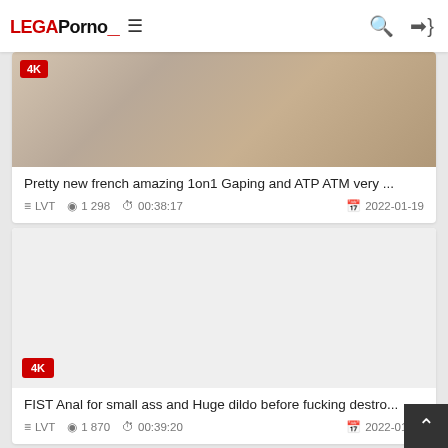LegaPorno navigation header with logo, hamburger menu, search and login icons
[Figure (photo): Thumbnail image showing a person's back, partially cropped. Has a red 4K badge in top-left corner.]
Pretty new french amazing 1on1 Gaping and ATP ATM very ...
LVT  1 298  00:38:17  2022-01-19
[Figure (photo): Blank/light gray thumbnail placeholder with a red 4K badge in the bottom-left corner.]
FIST Anal for small ass and Huge dildo before fucking destro...
LVT  1 870  00:39:20  2022-01-15